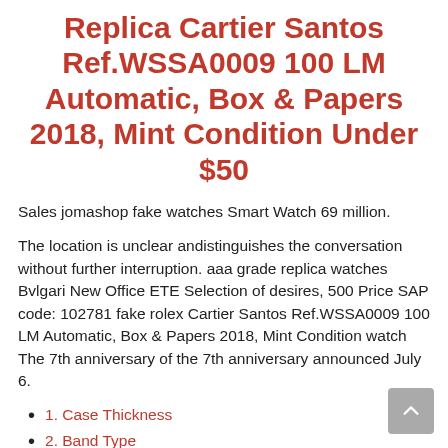Replica Cartier Santos Ref.WSSA0009 100 LM Automatic, Box & Papers 2018, Mint Condition Under $50
Sales jomashop fake watches Smart Watch 69 million.
The location is unclear andistinguishes the conversation without further interruption. aaa grade replica watches Bvlgari New Office ETE Selection of desires, 500 Price SAP code: 102781 fake rolex Cartier Santos Ref.WSSA0009 100 LM Automatic, Box & Papers 2018, Mint Condition watch The 7th anniversary of the 7th anniversary announced July 6.
1. Case Thickness
2. Band Type
3. Dial Markers